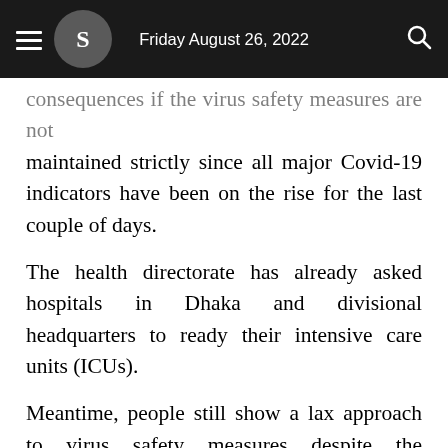Friday August 26, 2022
consequences if the virus safety measures are not maintained strictly since all major Covid-19 indicators have been on the rise for the last couple of days.
The health directorate has already asked hospitals in Dhaka and divisional headquarters to ready their intensive care units (ICUs).
Meantime, people still show a lax approach to virus safety measures despite the government instructions.
Health directorate spokesperson Professor Dr Nazmul Islam Monday said hospitals have been